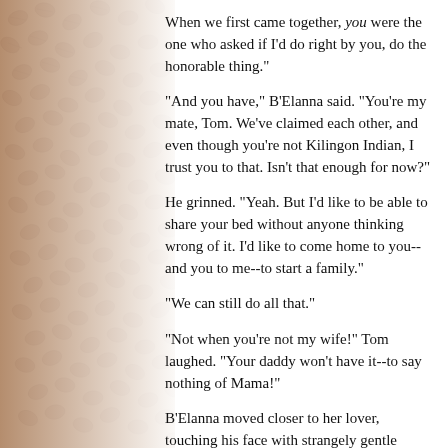[Figure (photo): Background image of coffee beans on the left side of the page, fading to white toward the right.]
When we first came together, you were the one who asked if I'd do right by you, do the honorable thing."
"And you have," B'Elanna said. "You're my mate, Tom. We've claimed each other, and even though you're not Kilingon Indian, I trust you to that. Isn't that enough for now?"
He grinned. "Yeah. But I'd like to be able to share your bed without anyone thinking wrong of it. I'd like to come home to you--and you to me--to start a family."
"We can still do all that."
"Not when you're not my wife!" Tom laughed. "Your daddy won't have it--to say nothing of Mama!"
B'Elanna moved closer to her lover, touching his face with strangely gentle fingers. "Is that why you want to marry me? So other people will approve?"